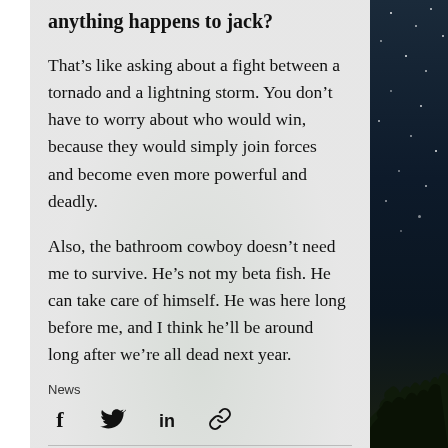anything happens to jack?
That’s like asking about a fight between a tornado and a lightning storm. You don’t have to worry about who would win, because they would simply join forces and become even more powerful and deadly.
Also, the bathroom cowboy doesn’t need me to survive. He’s not my beta fish. He can take care of himself. He was here long before me, and I think he’ll be around long after we’re all dead next year.
News
[Figure (infographic): Social sharing icons: Facebook (f), Twitter (bird), LinkedIn (in), and link/chain icon]